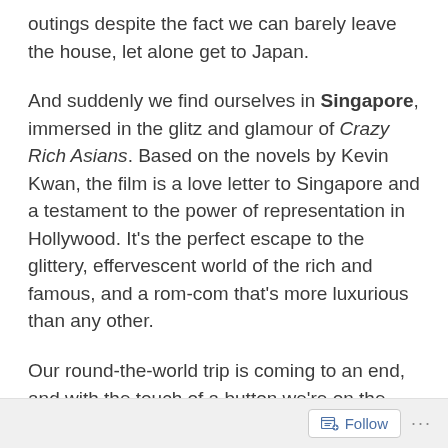outings despite the fact we can barely leave the house, let alone get to Japan.
And suddenly we find ourselves in Singapore, immersed in the glitz and glamour of Crazy Rich Asians. Based on the novels by Kevin Kwan, the film is a love letter to Singapore and a testament to the power of representation in Hollywood. It's the perfect escape to the glittery, effervescent world of the rich and famous, and a rom-com that's more luxurious than any other.
Our round-the-world trip is coming to an end, and with the touch of a button we're on the
Follow ...